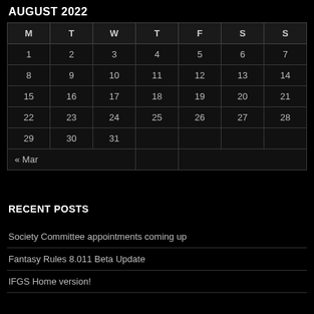AUGUST 2022
| M | T | W | T | F | S | S |
| --- | --- | --- | --- | --- | --- | --- |
| 1 | 2 | 3 | 4 | 5 | 6 | 7 |
| 8 | 9 | 10 | 11 | 12 | 13 | 14 |
| 15 | 16 | 17 | 18 | 19 | 20 | 21 |
| 22 | 23 | 24 | 25 | 26 | 27 | 28 |
| 29 | 30 | 31 |  |  |  |  |
| « Mar |  |  |  |  |  |  |
RECENT POSTS
Society Committee appointments coming up
Fantasy Rules 8.011 Beta Update
IFGS Home version!